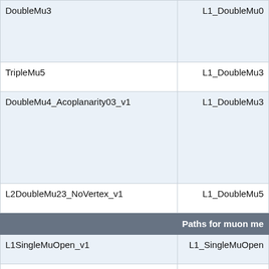| HLT Path | L1 Seed |
| --- | --- |
| DoubleMu3 | L1_DoubleMu0 |
| TripleMu5 | L1_DoubleMu3 |
| DoubleMu4_Acoplanarity03_v1 | L1_DoubleMu3 |
| L2DoubleMu23_NoVertex_v1 | L1_DoubleMu5 |
| (section) Paths for muon me... |  |
| L1SingleMuOpen_v1 | L1_SingleMuOpen |
| L1SingleMuOpen_DT | L1_SingleMuOpen |
| L1SingleMu10_v1 | L1_SingleMu10 |
| L2Mu10_v1 | L1_SingleMu10 |
| L1SingleMu20 | L1_SingleMu20 |